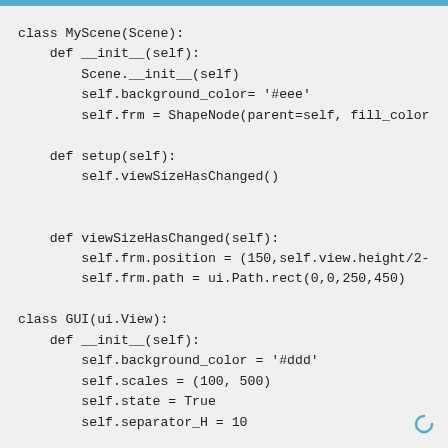class MyScene(Scene):
    def __init__(self):
        Scene.__init__(self)
        self.background_color= '#eee'
        self.frm = ShapeNode(parent=self, fill_color

    def setup(self):
        self.viewSizeHasChanged()


    def viewSizeHasChanged(self):
        self.frm.position = (150,self.view.height/2-
        self.frm.path = ui.Path.rect(0,0,250,450)

class GUI(ui.View):
    def __init__(self):
        self.background_color = '#ddd'
        self.scales = (100, 500)
        self.state = True
        self.separator_H = 10

        self.mainView = ui.View(frame=(50,50,300,500
        self.add_subview(self.mainView)